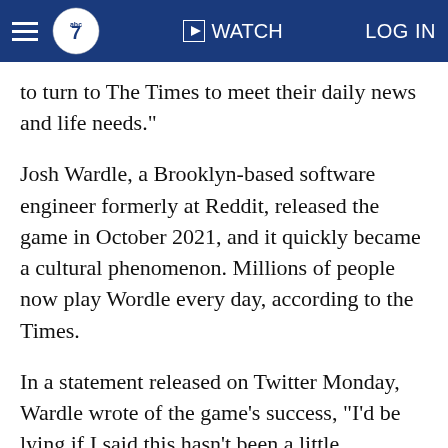ABC7 navigation bar with hamburger menu, ABC7 logo, WATCH button, and LOG IN button
to turn to The Times to meet their daily news and life needs."
Josh Wardle, a Brooklyn-based software engineer formerly at Reddit, released the game in October 2021, and it quickly became a cultural phenomenon. Millions of people now play Wordle every day, according to the Times.
In a statement released on Twitter Monday, Wardle wrote of the game's success, "I'd be lying if I said this hasn't been a little overwhelming. After all, I am just one person, and it is important to me that, as Wordle grows, it continues to provide a great experience to everyone."